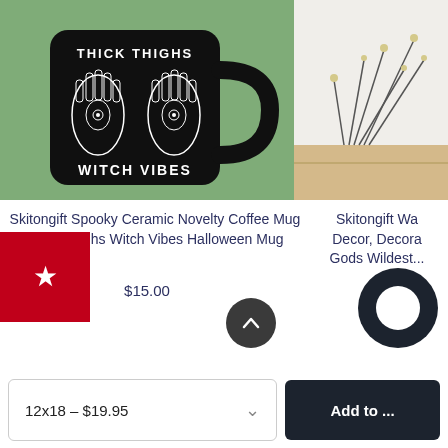[Figure (photo): Black ceramic coffee mug with 'Thick Thighs Witch Vibes' graphic featuring hamsa hands design, on a sage green background]
[Figure (photo): Minimalist home decor item — dried wildflowers/branches in a vase on a light wood shelf, white background]
Skitongift Spooky Ceramic Novelty Coffee Mug Thick Thighs Witch Vibes Halloween Mug
$15.00
Skitongift Wall Decor, Decora Gods Wildest...
12x18 – $19.95
Add to ...